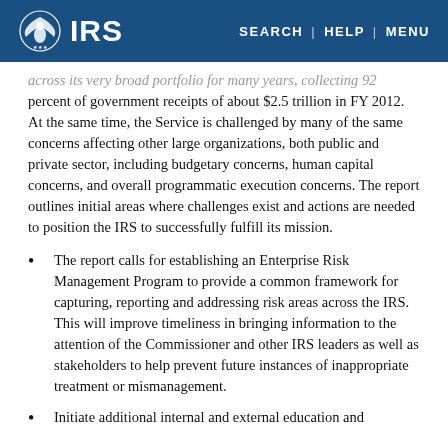IRS | SEARCH | HELP | MENU
across its very broad portfolio for many years, collecting 92 percent of government receipts of about $2.5 trillion in FY 2012.  At the same time, the Service is challenged by many of the same concerns affecting other large organizations, both public and private sector, including budgetary concerns, human capital concerns, and overall programmatic execution concerns. The report outlines initial areas where challenges exist and actions are needed to position the IRS to successfully fulfill its mission.
The report calls for establishing an Enterprise Risk Management Program to provide a common framework for capturing, reporting and addressing risk areas across the IRS.  This will improve timeliness in bringing information to the attention of the Commissioner and other IRS leaders as well as stakeholders to help prevent future instances of inappropriate treatment or mismanagement.
Initiate additional internal and external education and